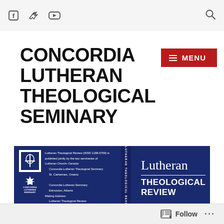Social media icons (Facebook, Twitter, YouTube) and search icon
CONCORDIA LUTHERAN THEOLOGICAL SEMINARY
[Figure (screenshot): Red MENU button with hamburger icon lines]
[Figure (screenshot): Lutheran Theological Review journal banner with logos, publication info, spine text, and large title on dark blue background]
Follow ...